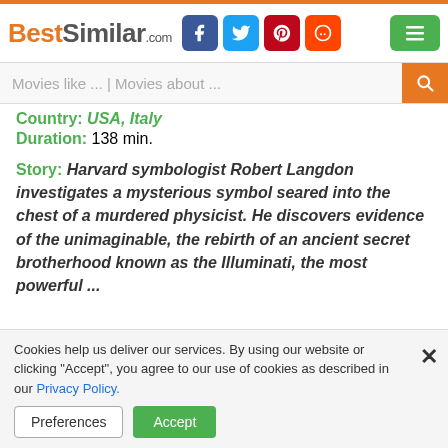BestSimilar.com
Movies like ... | Movies about ...
Country: USA, Italy
Duration: 138 min.
Story: Harvard symbologist Robert Langdon investigates a mysterious symbol seared into the chest of a murdered physicist. He discovers evidence of the unimaginable, the rebirth of an ancient secret brotherhood known as the Illuminati, the most powerful ...
Cookies help us deliver our services. By using our website or clicking "Accept", you agree to our use of cookies as described in our Privacy Policy.